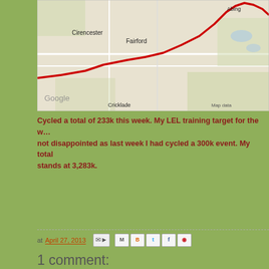[Figure (map): Google Maps screenshot showing route through Cirencester, Fairford, and surrounding area with a red route line. Labels visible: Cirencester, Fairford, Abingdon, Cricklade, Google watermark, Map data notice.]
Cycled a total of 233k this week. My LEL training target for the w... not disappointed as last week I had cycled a 300k event. My total stands at 3,283k.
at April 27, 2013
1 comment:
The Phantom  29 April 2013 at 14:15
I think that monkey is Chris?
Reply
To leave a comment, click the button below to sign in with
SIGN IN WITH GOOGLE